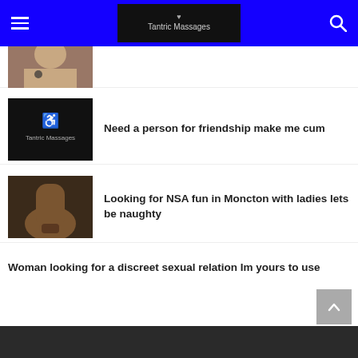Tantric Massages
[Figure (screenshot): Partial thumbnail image at top, cropped]
[Figure (screenshot): Tantric Massages logo thumbnail - dark background with logo text]
Need a person for friendship make me cum
[Figure (photo): Explicit adult content thumbnail]
Looking for NSA fun in Moncton with ladies lets be naughty
Woman looking for a discreet sexual relation Im yours to use